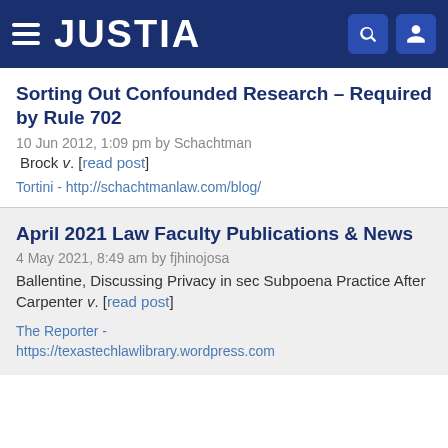JUSTIA
Sorting Out Confounded Research – Required by Rule 702
10 Jun 2012, 1:09 pm by Schachtman
Brock v. [read post]
Tortini - http://schachtmanlaw.com/blog/
April 2021 Law Faculty Publications & News
4 May 2021, 8:49 am by fjhinojosa
Ballentine, Discussing Privacy in sec Subpoena Practice After Carpenter v. [read post]
The Reporter - https://texastechlawlibrary.wordpress.com